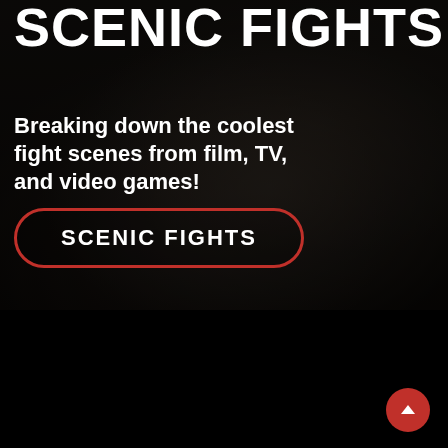[Figure (photo): Dark background hero image showing two fighters grappling, with dark overlay. Grayscale/dark toned martial arts fight scene.]
SCENIC FIGHTS
Breaking down the coolest fight scenes from film, TV, and video games!
SCENIC FIGHTS